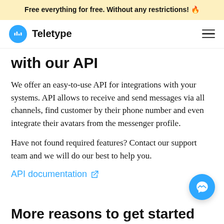Free everything for free. Without any restrictions! 🔥
[Figure (logo): Teletype logo: blue circle with chat waveform icon, and text 'Teletype']
with our API
We offer an easy-to-use API for integrations with your systems. API allows to receive and send messages via all channels, find customer by their phone number and even integrate their avatars from the messenger profile.
Have not found required features? Contact our support team and we will do our best to help you.
API documentation ↗
[Figure (other): Blue circular Messenger chat button (FAB) in bottom right corner]
More reasons to get started